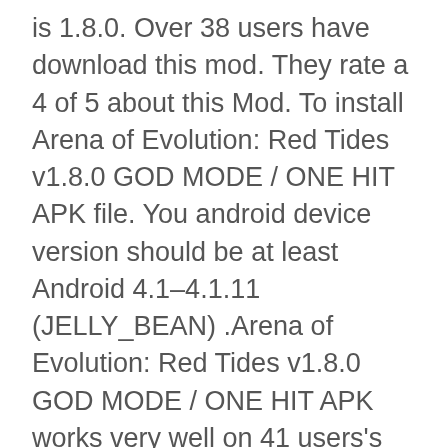is 1.8.0. Over 38 users have download this mod. They rate a 4 of 5 about this Mod. To install Arena of Evolution: Red Tides v1.8.0 GOD MODE / ONE HIT APK file. You android device version should be at least Android 4.1–4.1.11 (JELLY_BEAN) .Arena of Evolution: Red Tides v1.8.0 GOD MODE / ONE HIT APK works very well on 41 users's device. The size about Arena of Evolution: Red Tides v1.8.0 GOD MODE / ONE HIT APK is 47.96 MB.You can download Arena of Evolution: Red Tides v1.8.0 GOD MODE / ONE HIT APK to get unlimited money and win easily
KEY FEATURES:
Species wonderland(beta)
▲